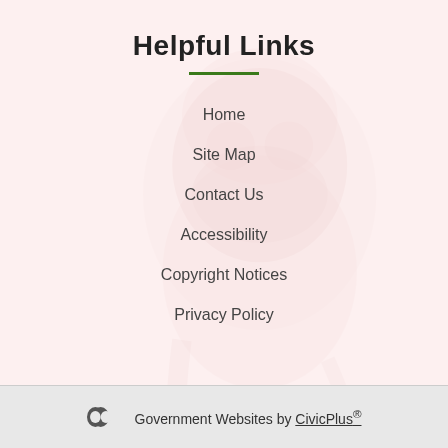Helpful Links
Home
Site Map
Contact Us
Accessibility
Copyright Notices
Privacy Policy
[Figure (logo): Facebook social media icon - blue circle with white letter f]
Government Websites by CivicPlus®